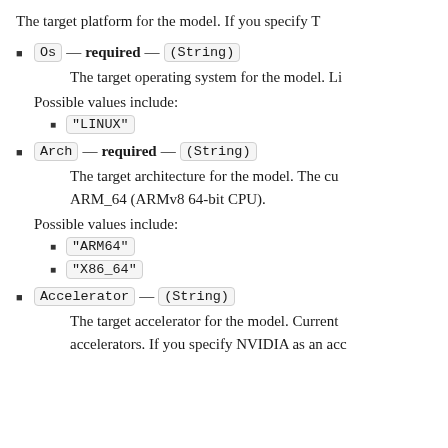The target platform for the model. If you specify T
Os — required — (String)
The target operating system for the model. Li
Possible values include:
"LINUX"
Arch — required — (String)
The target architecture for the model. The cu ARM_64 (ARMv8 64-bit CPU).
Possible values include:
"ARM64"
"X86_64"
Accelerator — (String)
The target accelerator for the model. Current accelerators. If you specify NVIDIA as an acc